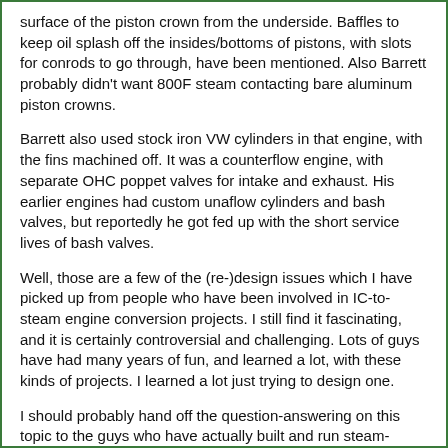surface of the piston crown from the underside. Baffles to keep oil splash off the insides/bottoms of pistons, with slots for conrods to go through, have been mentioned. Also Barrett probably didn't want 800F steam contacting bare aluminum piston crowns.
Barrett also used stock iron VW cylinders in that engine, with the fins machined off. It was a counterflow engine, with separate OHC poppet valves for intake and exhaust. His earlier engines had custom unaflow cylinders and bash valves, but reportedly he got fed up with the short service lives of bash valves.
Well, those are a few of the (re-)design issues which I have picked up from people who have been involved in IC-to-steam engine conversion projects. I still find it fascinating, and it is certainly controversial and challenging. Lots of guys have had many years of fun, and learned a lot, with these kinds of projects. I learned a lot just trying to design one.
I should probably hand off the question-answering on this topic to the guys who have actually built and run steam-converted IC engines. They know a lot more about it than I do.